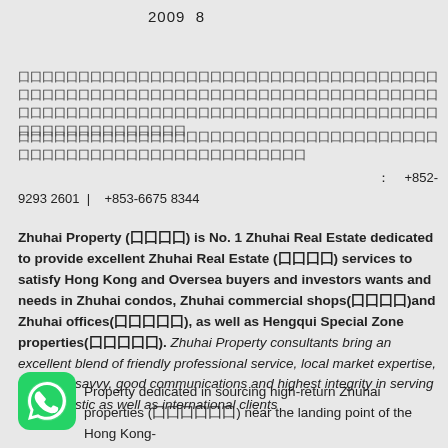2009  8
囗囗囗囗囗囗囗囗囗囗囗囗囗囗囗囗囗囗囗囗囗囗囗囗囗囗囗囗囗囗囗囗囗囗囗囗囗囗囗囗囗囗囗囗囗囗囗囗囗囗囗囗囗囗囗囗囗囗囗囗囗囗囗囗囗囗囗囗囗囗囗囗囗囗囗囗囗囗囗囗囗囗囗囗囗囗囗囗囗囗囗囗囗囗囗囗囗囗囗囗囗囗囗囗囗囗囗囗囗囗囗囗囗
囗囗囗囗囗囗囗囗囗囗囗囗囗囗囗囗囗囗囗囗囗囗囗囗囗囗囗囗囗囗囗囗囗囗囗囗囗囗囗囗囗囗囗囗囗囗囗囗囗囗囗囗囗囗囗囗囗囗囗
：   +852-9293 2601  |    +853-6675 8344
Zhuhai Property (囗囗囗囗) is No. 1 Zhuhai Real Estate dedicated to provide excellent Zhuhai Real Estate (囗囗囗囗) services to satisfy Hong Kong and Oversea buyers and investors wants and needs in Zhuhai condos, Zhuhai commercial shops(囗囗囗囗)and Zhuhai offices(囗囗囗囗囗), as well as Hengqui Special Zone properties(囗囗囗囗囗). Zhuhai Property consultants bring an excellent blend of friendly professional service, local market expertise, business savvy, good communications and highest integrity in serving our domestic as well as international clients
[Figure (logo): WhatsApp green icon]
Property dedicated in sourcing high-return Zhuhai properties (囗囗囗囗囗囗) near the landing point of the Hong Kong-